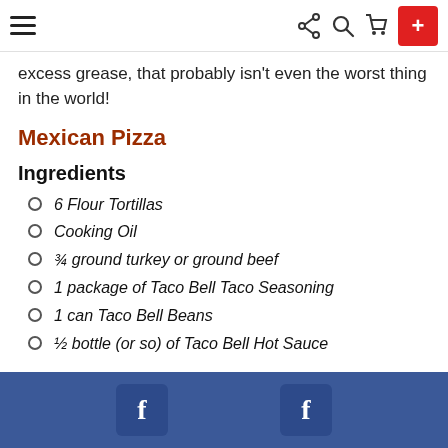Navigation bar with hamburger menu, share, search, cart icons and plus button
excess grease, that probably isn't even the worst thing in the world!
Mexican Pizza
Ingredients
6 Flour Tortillas
Cooking Oil
¾ ground turkey or ground beef
1 package of Taco Bell Taco Seasoning
1 can Taco Bell Beans
½ bottle (or so) of Taco Bell Hot Sauce
Facebook social share footer bar